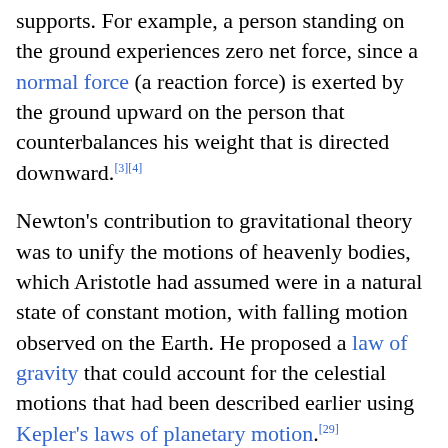supports. For example, a person standing on the ground experiences zero net force, since a normal force (a reaction force) is exerted by the ground upward on the person that counterbalances his weight that is directed downward.[3][4]
Newton's contribution to gravitational theory was to unify the motions of heavenly bodies, which Aristotle had assumed were in a natural state of constant motion, with falling motion observed on the Earth. He proposed a law of gravity that could account for the celestial motions that had been described earlier using Kepler's laws of planetary motion.[29]
Newton came to realize that the effects of gravity might be observed in different ways at larger distances. In particular, Newton determined that the acceleration of the Moon around the Earth